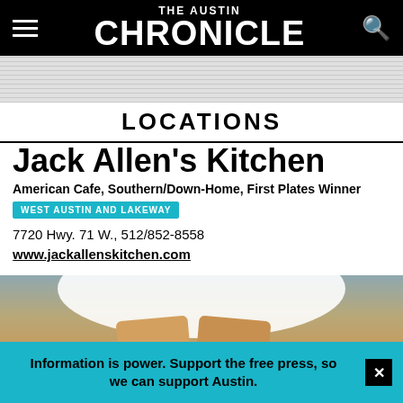THE AUSTIN CHRONICLE
LOCATIONS
Jack Allen's Kitchen
American Cafe, Southern/Down-Home, First Plates Winner
WEST AUSTIN AND LAKEWAY
7720 Hwy. 71 W., 512/852-8558
www.jackallenskitchen.com
[Figure (photo): Photo of food on a white plate at Jack Allen's Kitchen]
Information is power. Support the free press, so we can support Austin.